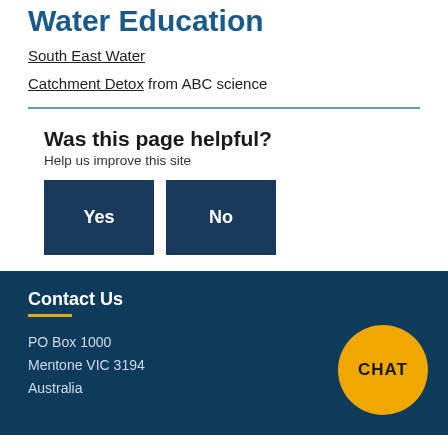Water Education
South East Water
Catchment Detox from ABC science
Was this page helpful?
Help us improve this site
Contact Us
PO Box 1000
Mentone VIC 3194
Australia